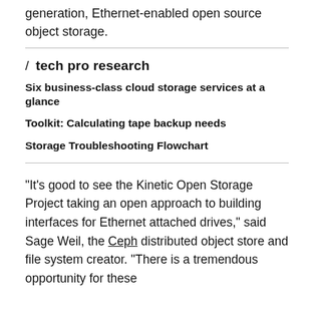generation, Ethernet-enabled open source object storage.
/ tech pro research
Six business-class cloud storage services at a glance
Toolkit: Calculating tape backup needs
Storage Troubleshooting Flowchart
"It's good to see the Kinetic Open Storage Project taking an open approach to building interfaces for Ethernet attached drives," said Sage Weil, the Ceph distributed object store and file system creator. "There is a tremendous opportunity for these